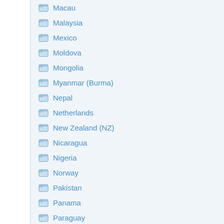Macau
Malaysia
Mexico
Moldova
Mongolia
Myanmar (Burma)
Nepal
Netherlands
New Zealand (NZ)
Nicaragua
Nigeria
Norway
Pakistan
Panama
Paraguay
Peru
Philippines
Poland
Portugal
Puerto Rico (PR)
Romania